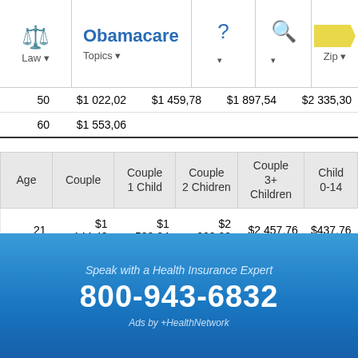Law | Obamacare Topics | ? | Search | Zip
| Age | Individual | Couple 1 Child | Couple 2 Children | Couple 3+ Children |
| --- | --- | --- | --- | --- |
| 50 | $1 022,02 | $1 459,78 | $1 897,54 | $2 335,30 |
| 60 | $1 553,06 |  |  |  |
| Age | Couple | Couple 1 Child | Couple 2 Chidren | Couple 3+ Children | Child 0-14 |
| --- | --- | --- | --- | --- | --- |
| 21 | $1 144,48 | $1 582,24 | $2 020,00 | $2 457,76 | $437,76 |
| 30 | $1 298,98 | $1 736,74 | $2 174,50 | $2 612,26 |  |
| 40 | $1 462,64 | $1 900,40 | $2 338,16 | $2 775,92 |  |
| 50 | $2 044,04 | $2 481,80 | $2 919,56 | $3 357,32 |  |
| 60 | $3 106,12 |  |  |  |  |
Tes  Plan #5         BlueCross BlueShield of Tennessee
Speak with a Health Insurance Expert
800-943-6832
Ads by +HealthNetwork